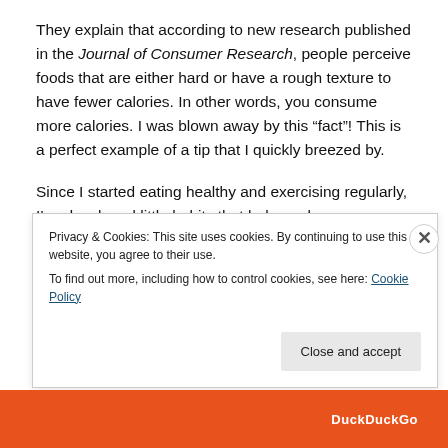They explain that according to new research published in the Journal of Consumer Research, people perceive foods that are either hard or have a rough texture to have fewer calories. In other words, you consume more calories. I was blown away by this “fact”! This is a perfect example of a tip that I quickly breezed by.
Since I started eating healthy and exercising regularly, I’ve developed little habits that help me keep my portions and food choices in balance. One of the most helpful habits
Privacy & Cookies: This site uses cookies. By continuing to use this website, you agree to their use.
To find out more, including how to control cookies, see here: Cookie Policy